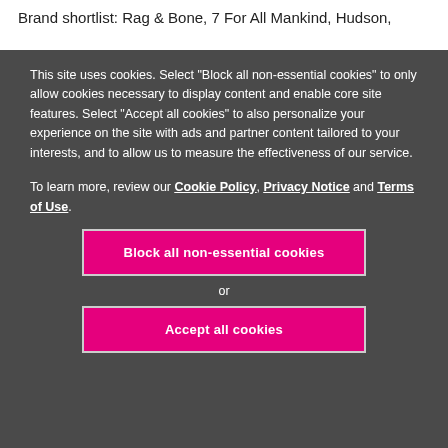Brand shortlist: Rag & Bone, 7 For All Mankind, Hudson,
This site uses cookies. Select "Block all non-essential cookies" to only allow cookies necessary to display content and enable core site features. Select "Accept all cookies" to also personalize your experience on the site with ads and partner content tailored to your interests, and to allow us to measure the effectiveness of our service.
To learn more, review our Cookie Policy, Privacy Notice and Terms of Use.
Block all non-essential cookies
or
Accept all cookies